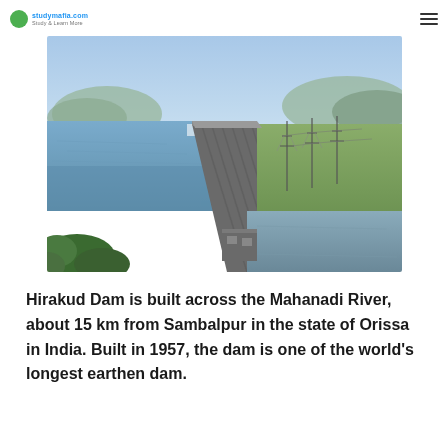studymafia.com (logo) — hamburger menu
[Figure (photo): Aerial view of Hirakud Dam built across the Mahanadi River, showing the long earthen dam structure with water reservoir on one side, power lines and green landscape on the other side, and hills in the background.]
Hirakud Dam is built across the Mahanadi River, about 15 km from Sambalpur in the state of Orissa in India. Built in 1957, the dam is one of the world's longest earthen dam.